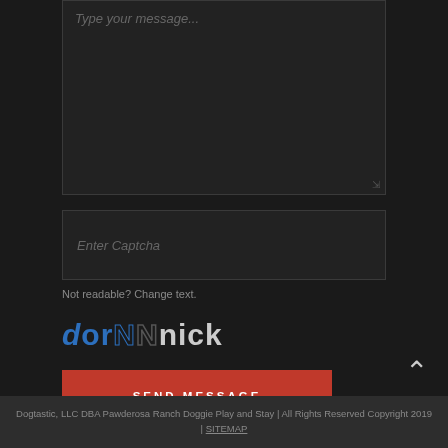[Figure (screenshot): Textarea input box with placeholder text 'Type your message...' and a resize handle in the bottom right corner]
[Figure (screenshot): Text input box with placeholder text 'Enter Captcha']
Not readable? Change text.
[Figure (other): CAPTCHA image showing the text 'dornick' in styled blue and dark letters]
[Figure (other): Red button labeled 'SEND MESSAGE']
[Figure (other): Up arrow chevron icon]
Dogtastic, LLC DBA Pawderosa Ranch Doggie Play and Stay | All Rights Reserved Copyright 2019 | SITEMAP